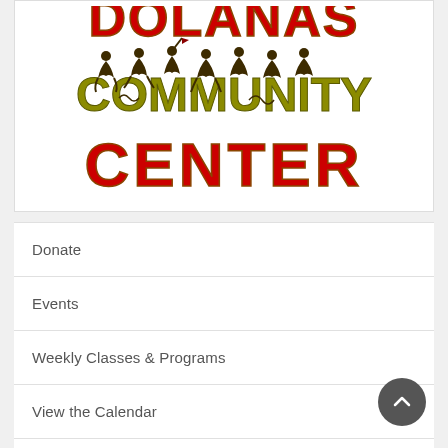[Figure (logo): Dolanas Community Center logo with stylized figures dancing/celebrating on top of olive-green COMMUNITY text, with red CENTER text below and red DOLANAS text at top]
Donate
Events
Weekly Classes & Programs
View the Calendar
Hall Rental Information